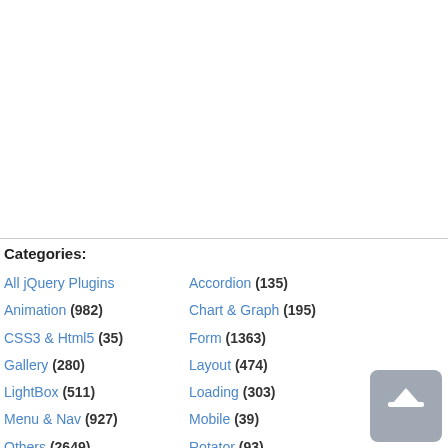Categories:
All jQuery Plugins
Accordion (135)
Animation (982)
Chart & Graph (195)
CSS3 & Html5 (35)
Form (1363)
Gallery (280)
Layout (474)
LightBox (511)
Loading (303)
Menu & Nav (927)
Mobile (39)
Others (2649)
Rotator (93)